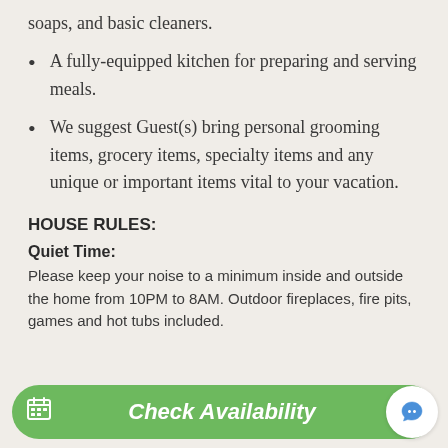soaps, and basic cleaners.
A fully-equipped kitchen for preparing and serving meals.
We suggest Guest(s) bring personal grooming items, grocery items, specialty items and any unique or important items vital to your vacation.
HOUSE RULES:
Quiet Time:
Please keep your noise to a minimum inside and outside the home from 10PM to 8AM. Outdoor fireplaces, fire pits, games and hot tubs included.
Check Availability